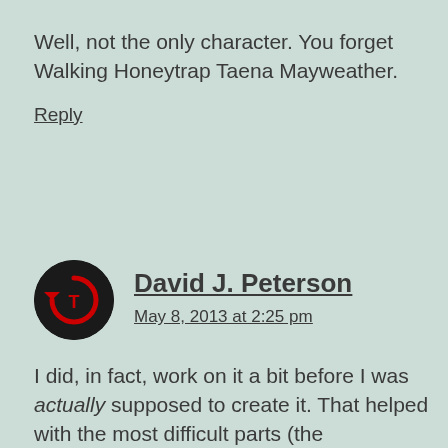Well, not the only character. You forget Walking Honeytrap Taena Mayweather.
Reply
David J. Peterson
May 8, 2013 at 2:25 pm
I did, in fact, work on it a bit before I was actually supposed to create it. That helped with the most difficult parts (the conjugation and declension systems). But, yeah, last summer